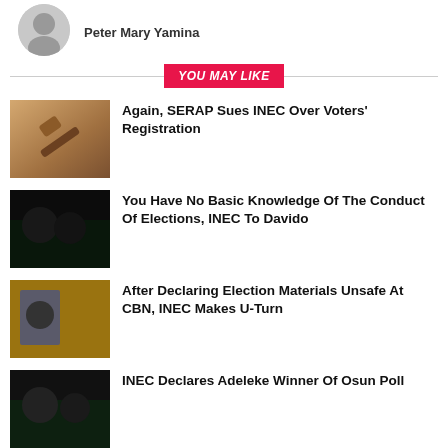Peter Mary Yamina
YOU MAY LIKE
Again, SERAP Sues INEC Over Voters' Registration
You Have No Basic Knowledge Of The Conduct Of Elections, INEC To Davido
After Declaring Election Materials Unsafe At CBN, INEC Makes U-Turn
INEC Declares Adeleke Winner Of Osun Poll